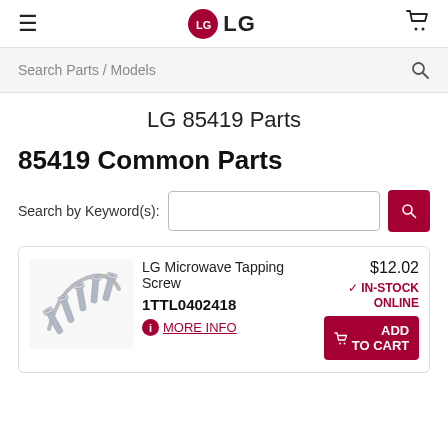LG
Search Parts / Models
LG 85419 Parts
85419 Common Parts
Search by Keyword(s):
[Figure (photo): Photo of LG Microwave Tapping Screw — multiple silver screws arranged on a curved metal bracket]
LG Microwave Tapping Screw
1TTL0402418
MORE INFO
$12.02
IN-STOCK ONLINE
ADD TO CART